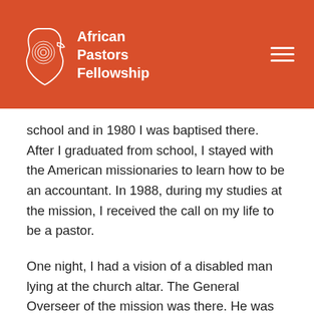African Pastors Fellowship
school and in 1980 I was baptised there. After I graduated from school, I stayed with the American missionaries to learn how to be an accountant. In 1988, during my studies at the mission, I received the call on my life to be a pastor.
One night, I had a vision of a disabled man lying at the church altar. The General Overseer of the mission was there. He was calling for my grandmother to pray for the disabled man but my grandmother told him that I would do it in her place.
In my vision, she told me to pray for the